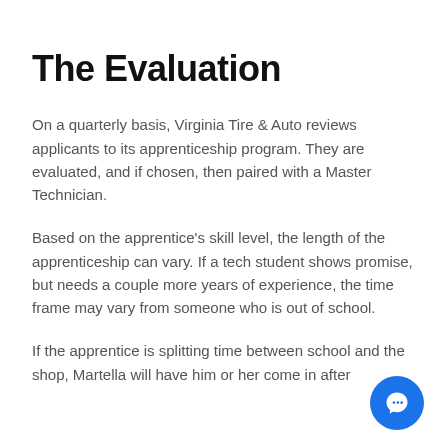The Evaluation
On a quarterly basis, Virginia Tire & Auto reviews applicants to its apprenticeship program. They are evaluated, and if chosen, then paired with a Master Technician.
Based on the apprentice's skill level, the length of the apprenticeship can vary. If a tech student shows promise, but needs a couple more years of experience, the time frame may vary from someone who is out of school.
If the apprentice is splitting time between school and the shop, Martella will have him or her come in after